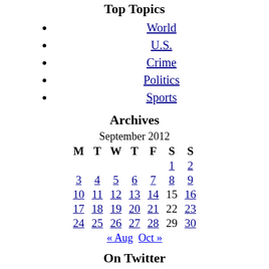Top Topics
World
U.S.
Crime
Politics
Sports
Archives
| M | T | W | T | F | S | S |
| --- | --- | --- | --- | --- | --- | --- |
|  |  |  |  |  | 1 | 2 |
| 3 | 4 | 5 | 6 | 7 | 8 | 9 |
| 10 | 11 | 12 | 13 | 14 | 15 | 16 |
| 17 | 18 | 19 | 20 | 21 | 22 | 23 |
| 24 | 25 | 26 | 27 | 28 | 29 | 30 |
« Aug   Oct »
On Twitter
Join me on my new show, "Across America" where we'll cover the stories that hit home. Weekdays 11am-1pmET